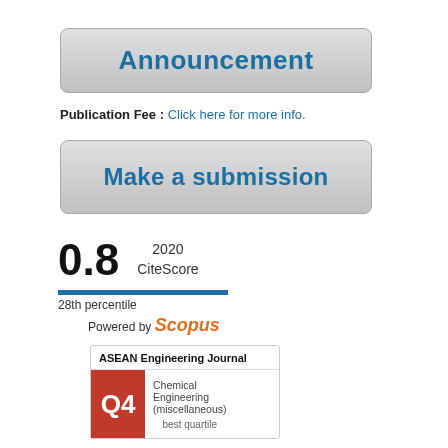[Figure (other): Gray rounded-rectangle button with blue bold text 'Announcement']
Publication Fee : Click here for more info.
[Figure (other): Gray rounded-rectangle button with blue bold text 'Make a submission']
0.8  2020 CiteScore  28th percentile  Powered by Scopus
[Figure (other): ASEAN Engineering Journal SCImago journal card showing Q4 quartile in Chemical Engineering (miscellaneous), best quartile]